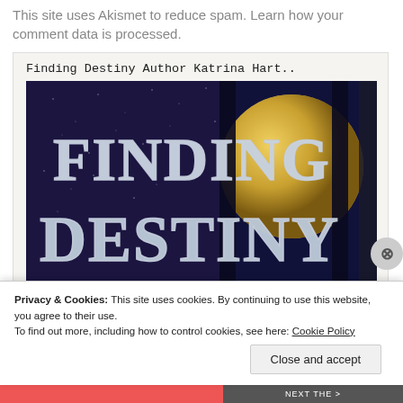This site uses Akismet to reduce spam. Learn how your comment data is processed.
Finding Destiny Author Katrina Hart..
[Figure (illustration): Book cover for 'Finding Destiny' showing silver metallic text 'FINDING DESTINY' against a dark blue starry sky background with a large moon visible]
Privacy & Cookies: This site uses cookies. By continuing to use this website, you agree to their use.
To find out more, including how to control cookies, see here: Cookie Policy
Close and accept